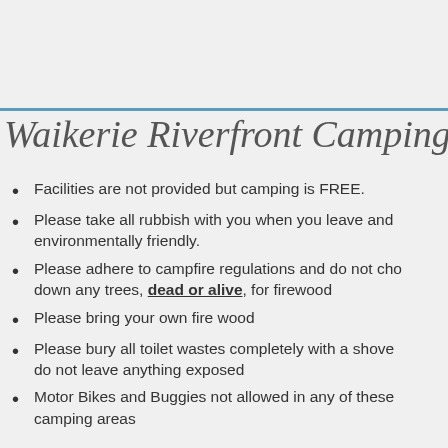Waikerie Riverfront Camping
Facilities are not provided but camping is FREE.
Please take all rubbish with you when you leave and environmentally friendly.
Please adhere to campfire regulations and do not chop down any trees, dead or alive, for firewood
Please bring your own fire wood
Please bury all toilet wastes completely with a shovel, do not leave anything exposed
Motor Bikes and Buggies not allowed in any of these camping areas